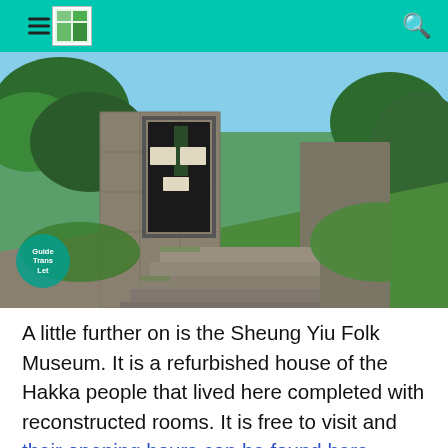Navigation header with hamburger menu, logo, and search icon
[Figure (photo): Stone steps leading up to an old dark-painted wooden door set into a large stone wall, surrounded by lush green vegetation and trees. A watermark reading 'Guide Trans Let' is visible in the lower left corner.]
A little further on is the Sheung Yiu Folk Museum. It is a refurbished house of the Hakka people that lived here completed with reconstructed rooms. It is free to visit and their opening hours can be found here.